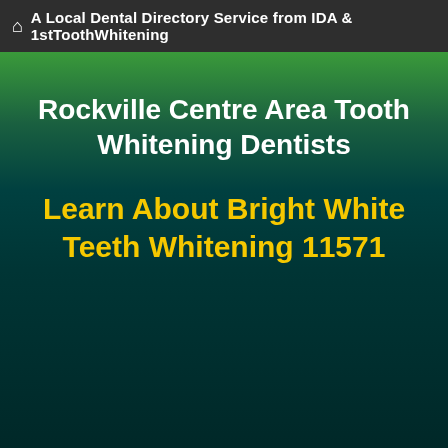A Local Dental Directory Service from IDA & 1stToothWhitening
Rockville Centre Area Tooth Whitening Dentists
Learn About Bright White Teeth Whitening 11571